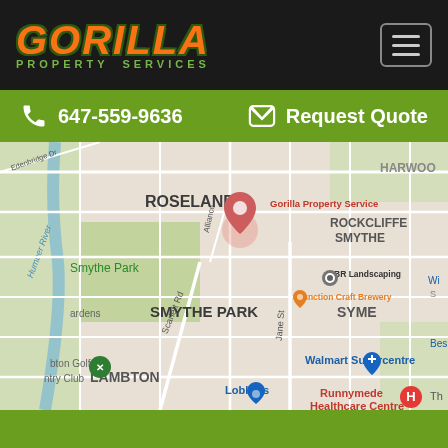[Figure (logo): Gorilla Property Services logo with orange italic bold text on dark background]
647-559-9636
Request Quote
[Figure (map): Google Maps screenshot showing Roselands, Smythe Park, Lambton area in Toronto with Gorilla Property Services pin, Walmart Supercentre, Loblaws, Runnymede Healthcare Centre, BR Landscaping, Junction Craft Brewery markers]